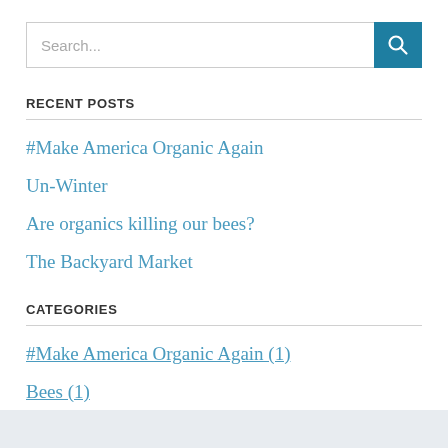[Figure (screenshot): Search input box with teal search button containing a magnifying glass icon]
RECENT POSTS
#Make America Organic Again
Un-Winter
Are organics killing our bees?
The Backyard Market
CATEGORIES
#Make America Organic Again (1)
Bees (1)
Vegetables (1)
Weather & Climate (1)